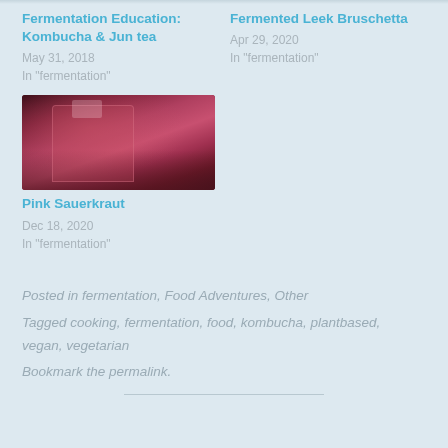Fermentation Education: Kombucha & Jun tea
May 31, 2018
In "fermentation"
Fermented Leek Bruschetta
Apr 29, 2020
In "fermentation"
[Figure (photo): Person holding a large glass jar filled with pink/red fermented vegetables (sauerkraut)]
Pink Sauerkraut
Dec 18, 2020
In "fermentation"
Posted in fermentation, Food Adventures, Other
Tagged cooking, fermentation, food, kombucha, plantbased, vegan, vegetarian
Bookmark the permalink.